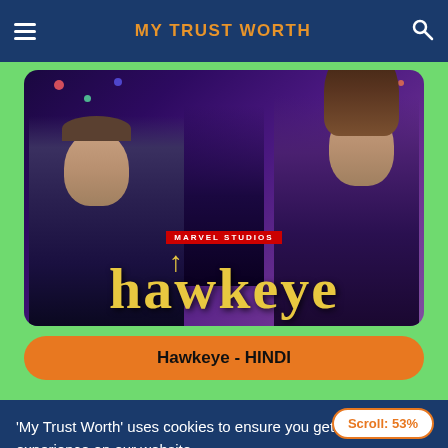MY TRUST WORTH
[Figure (photo): Hawkeye Marvel Studios promotional image showing two characters in purple costumes with the show title 'hawkeye' in gold letters and Marvel Studios logo]
Hawkeye - HINDI
Scroll: 53%
'My Trust Worth' uses cookies to ensure you get the best experience on our website.
Okay
More information...